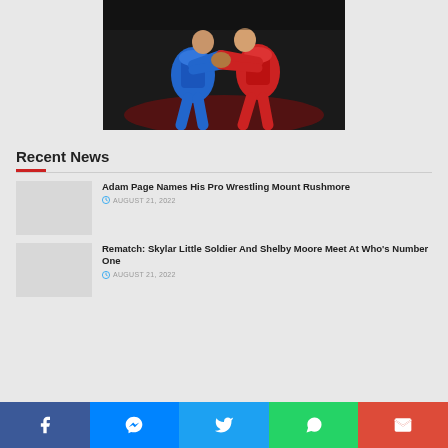[Figure (photo): Two wrestlers grappling — one in blue singlet, one in red singlet — on a dark background]
Recent News
Adam Page Names His Pro Wrestling Mount Rushmore
AUGUST 21, 2022
Rematch: Skylar Little Soldier And Shelby Moore Meet At Who's Number One
AUGUST 21, 2022